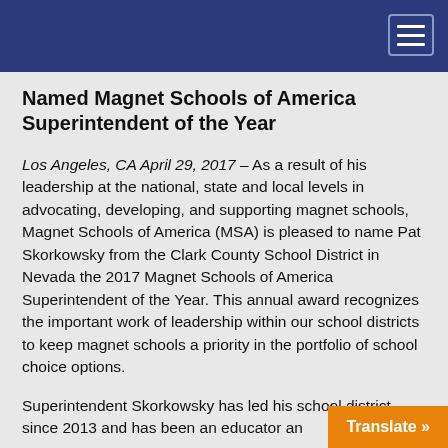Named Magnet Schools of America Superintendent of the Year
Los Angeles, CA April 29, 2017 – As a result of his leadership at the national, state and local levels in advocating, developing, and supporting magnet schools, Magnet Schools of America (MSA) is pleased to name Pat Skorkowsky from the Clark County School District in Nevada the 2017 Magnet Schools of America Superintendent of the Year. This annual award recognizes the important work of leadership within our school districts to keep magnet schools a priority in the portfolio of school choice options.
Superintendent Skorkowsky has led his school district since 2013 and has been an educator and director for Magnet Center initiatives...